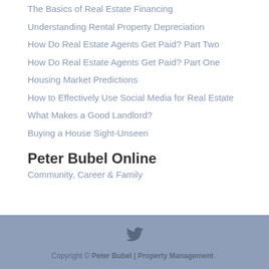The Basics of Real Estate Financing
Understanding Rental Property Depreciation
How Do Real Estate Agents Get Paid? Part Two
How Do Real Estate Agents Get Paid? Part One
Housing Market Predictions
How to Effectively Use Social Media for Real Estate
What Makes a Good Landlord?
Buying a House Sight-Unseen
Peter Bubel Online
Community, Career & Family
Copyright © Peter Bubel | Property Management ·